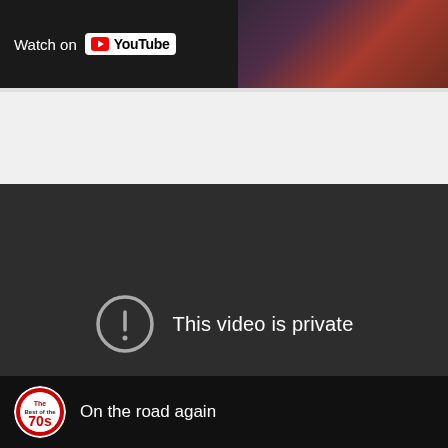[Figure (screenshot): YouTube 'Watch on YouTube' bar at top with dark background and partial reddish video thumbnail on right]
[Figure (screenshot): YouTube video player showing 'This video is private' error message with exclamation circle icon on dark background]
[Figure (screenshot): Bottom bar showing channel logo (The Best of the 70s) and text 'On the road again']